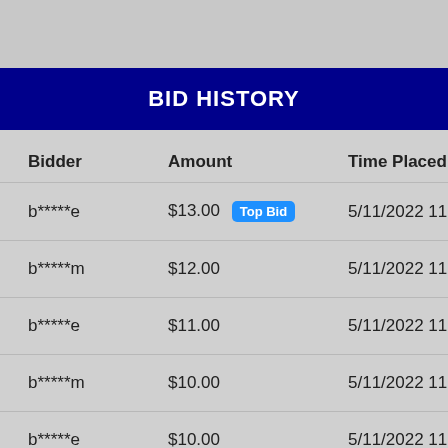BID HISTORY
| Bidder | Amount | Time Placed |
| --- | --- | --- |
| b*****e | $13.00 Top Bid | 5/11/2022 11:51:36 PM |
| b*****m | $12.00 | 5/11/2022 11:49:02 PM |
| b*****e | $11.00 | 5/11/2022 11:46:33 PM |
| b*****m | $10.00 | 5/11/2022 11:44:31 PM |
| b*****e | $10.00 | 5/11/2022 11:44:31 PM |
| b*****m | $9.00 | 5/11/2022 11:25:39 PM |